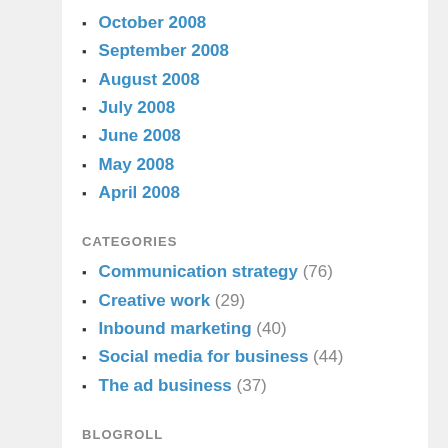October 2008
September 2008
August 2008
July 2008
June 2008
May 2008
April 2008
CATEGORIES
Communication strategy (76)
Creative work (29)
Inbound marketing (40)
Social media for business (44)
The ad business (37)
BLOGROLL
Bowen Research
Dark Matter Matters
Deanna Camp Art Direction
Girvin Blog